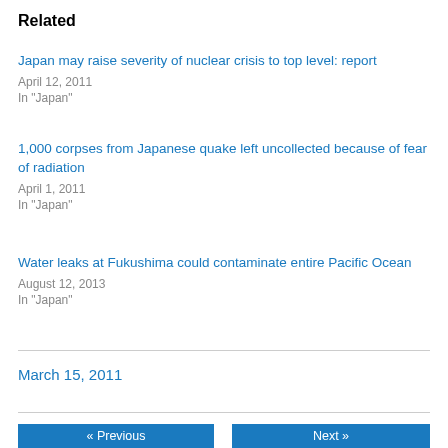Related
Japan may raise severity of nuclear crisis to top level: report
April 12, 2011
In "Japan"
1,000 corpses from Japanese quake left uncollected because of fear of radiation
April 1, 2011
In "Japan"
Water leaks at Fukushima could contaminate entire Pacific Ocean
August 12, 2013
In "Japan"
March 15, 2011
« Previous
Next »